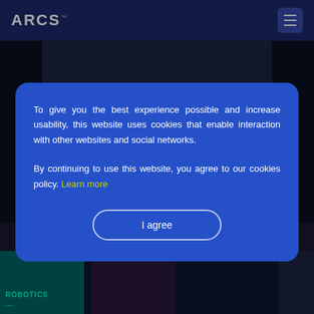ARCS™
Blog
To give you the best experience possible and increase usability, this website uses cookies that enable interaction with other websites and social networks.

By continuing to use this website, you agree to our cookies policy. Learn more
I agree